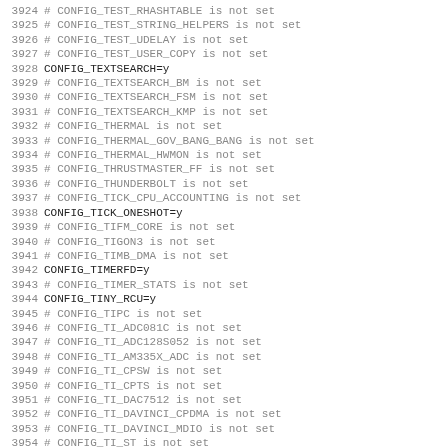3924 # CONFIG_TEST_RHASHTABLE is not set
3925 # CONFIG_TEST_STRING_HELPERS is not set
3926 # CONFIG_TEST_UDELAY is not set
3927 # CONFIG_TEST_USER_COPY is not set
3928 CONFIG_TEXTSEARCH=y
3929 # CONFIG_TEXTSEARCH_BM is not set
3930 # CONFIG_TEXTSEARCH_FSM is not set
3931 # CONFIG_TEXTSEARCH_KMP is not set
3932 # CONFIG_THERMAL is not set
3933 # CONFIG_THERMAL_GOV_BANG_BANG is not set
3934 # CONFIG_THERMAL_HWMON is not set
3935 # CONFIG_THRUSTMASTER_FF is not set
3936 # CONFIG_THUNDERBOLT is not set
3937 # CONFIG_TICK_CPU_ACCOUNTING is not set
3938 CONFIG_TICK_ONESHOT=y
3939 # CONFIG_TIFM_CORE is not set
3940 # CONFIG_TIGON3 is not set
3941 # CONFIG_TIMB_DMA is not set
3942 CONFIG_TIMERFD=y
3943 # CONFIG_TIMER_STATS is not set
3944 CONFIG_TINY_RCU=y
3945 # CONFIG_TIPC is not set
3946 # CONFIG_TI_ADC081C is not set
3947 # CONFIG_TI_ADC128S052 is not set
3948 # CONFIG_TI_AM335X_ADC is not set
3949 # CONFIG_TI_CPSW is not set
3950 # CONFIG_TI_CPTS is not set
3951 # CONFIG_TI_DAC7512 is not set
3952 # CONFIG_TI_DAVINCI_CPDMA is not set
3953 # CONFIG_TI_DAVINCI_MDIO is not set
3954 # CONFIG_TI_ST is not set
3955 # CONFIG_TLAN is not set